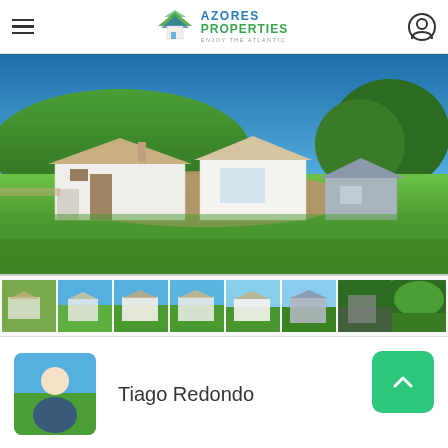Azores Properties — Enjoy the Atlantic
[Figure (photo): Exterior photo of a white house under construction with green lawn, blue sky, and green hills in background, on the Azores islands]
[Figure (photo): Thumbnail strip of 8 property photos showing the house from various angles]
Tiago Redondo